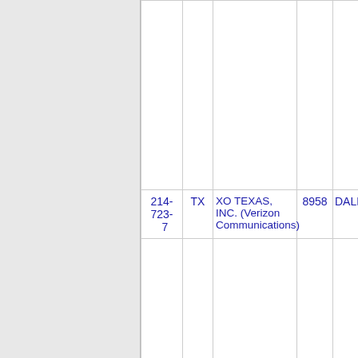| Phone | State | Company | Num | City |
| --- | --- | --- | --- | --- |
| 214-723-7 | TX | XO TEXAS, INC. (Verizon Communications) | 8958 | DALL... |